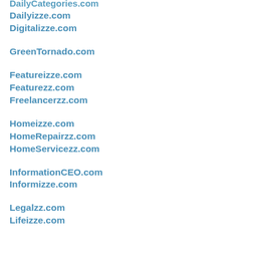DailyCategories.com
Dailyizze.com
Digitalizze.com
GreenTornado.com
Featureizze.com
Featurezz.com
Freelancerzz.com
Homeizze.com
HomeRepairzz.com
HomeServicezz.com
InformationCEO.com
Informizze.com
Legalzz.com
Lifeizze.com